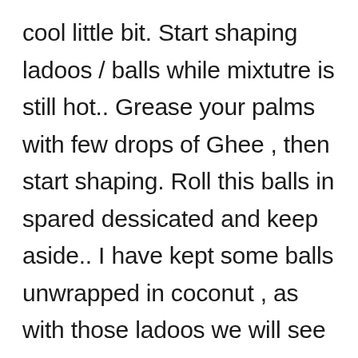cool little bit. Start shaping ladoos / balls while mixtutre is still hot.. Grease your palms with few drops of Ghee , then start shaping. Roll this balls in spared dessicated and keep aside.. I have kept some balls unwrapped in coconut , as with those ladoos we will see chocolate coconut ladoos